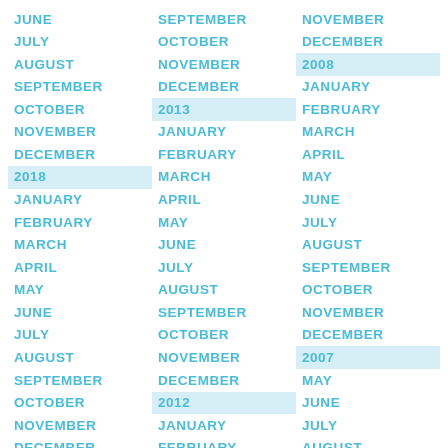JUNE
JULY
AUGUST
SEPTEMBER
OCTOBER
NOVEMBER
DECEMBER
2018
JANUARY
FEBRUARY
MARCH
APRIL
MAY
JUNE
JULY
AUGUST
SEPTEMBER
OCTOBER
NOVEMBER
DECEMBER
2017
JANUARY
FEBRUARY
SEPTEMBER
OCTOBER
NOVEMBER
DECEMBER
2013
JANUARY
FEBRUARY
MARCH
APRIL
MAY
JUNE
JULY
AUGUST
SEPTEMBER
OCTOBER
NOVEMBER
DECEMBER
2012
JANUARY
FEBRUARY
MARCH
APRIL
MAY
NOVEMBER
DECEMBER
2008
JANUARY
FEBRUARY
MARCH
APRIL
MAY
JUNE
JULY
AUGUST
SEPTEMBER
OCTOBER
NOVEMBER
DECEMBER
2007
MAY
JUNE
JULY
AUGUST
SEPTEMBER
OCTOBER
NOVEMBER